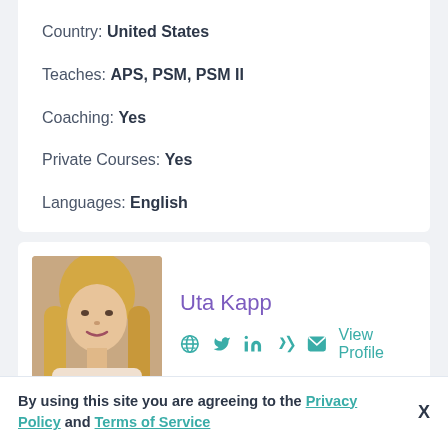Country: United States
Teaches: APS, PSM, PSM II
Coaching: Yes
Private Courses: Yes
Languages: English
[Figure (photo): Profile photo of Uta Kapp, a woman with blonde hair]
Uta Kapp
View Profile
By using this site you are agreeing to the Privacy Policy and Terms of Service